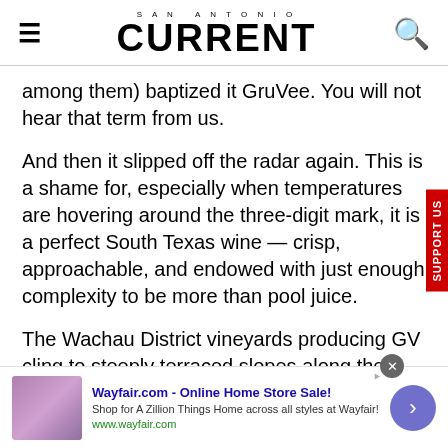SAN ANTONIO CURRENT
among them) baptized it GruVee. You will not hear that term from us.
And then it slipped off the radar again. This is a shame for, especially when temperatures are hovering around the three-digit mark, it is a perfect South Texas wine — crisp, approachable, and endowed with just enough complexity to be more than pool juice.
The Wachau District vineyards producing GV cling to steeply terraced slopes along the Danube west of Vienna.
[Figure (screenshot): Wayfair.com advertisement banner with logo image, headline 'Wayfair.com - Online Home Store Sale!', subtext 'Shop for A Zillion Things Home across all styles at Wayfair!', and URL www.wayfair.com]